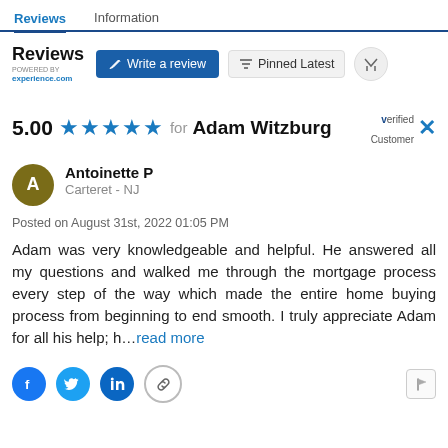Reviews | Information
Reviews
5.00 ★★★★★ for Adam Witzburg — Verified Customer
Antoinette P
Carteret - NJ
Posted on August 31st, 2022 01:05 PM
Adam was very knowledgeable and helpful. He answered all my questions and walked me through the mortgage process every step of the way which made the entire home buying process from beginning to end smooth. I truly appreciate Adam for all his help; h...read more